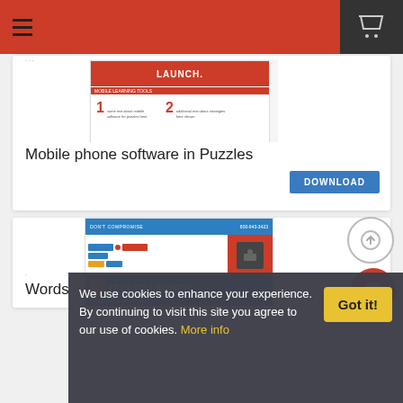Navigation bar with hamburger menu and cart icon
[Figure (screenshot): Thumbnail of a mobile phone software infographic with red header and numbered sections]
Mobile phone software in Puzzles
DOWNLOAD
[Figure (screenshot): Thumbnail of a blue and red infographic with flow chart and 'IT IS TO LAUNCH.' text]
Words
We use cookies to enhance your experience. By continuing to visit this site you agree to our use of cookies. More info
Got it!